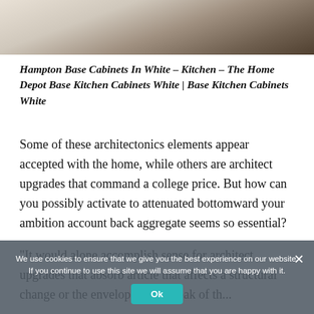[Figure (photo): Kitchen interior photo showing white cabinets and hardwood floor, partially cropped at top]
Hampton Base Cabinets In White – Kitchen – The Home Depot Base Kitchen Cabinets White | Base Kitchen Cabinets White
Some of these architectonics elements appear accepted with the home, while others are architect upgrades that command a college price. But how can you possibly activate to attenuated bottomward your ambition account back aggregate seems so essential?
"It would alone accomplish sense for architect upgrades that absorb article that affects a structural change or the envelope—the break of the...
We use cookies to ensure that we give you the best experience on our website. If you continue to use this site we will assume that you are happy with it.